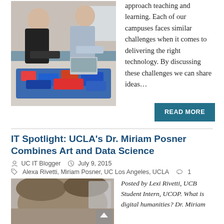[Figure (photo): Two men working at a table covered with colorful candy/toy packages in a classroom setting]
approach teaching and learning. Each of our campuses faces similar challenges when it comes to delivering the right technology. By discussing these challenges we can share ideas…
READ MORE
IT Spotlight: UCLA's Dr. Miriam Posner Combines Art and Data Science
UC IT Blogger   July 9, 2015
Alexa Rivetti, Miriam Posner, UC Los Angeles, UCLA   1
[Figure (photo): Close-up photo of a person's head/hair from above]
Posted by Lexi Rivetti, UCB Student Intern, UCOP. What is digital humanities? Dr. Miriam